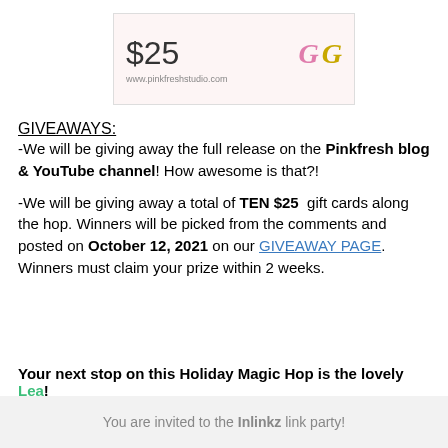[Figure (illustration): A Pinkfresh Studio $25 gift card with decorative italic G letters in pink and gold, and the URL www.pinkfreshstudio.com]
GIVEAWAYS:
-We will be giving away the full release on the Pinkfresh blog & YouTube channel! How awesome is that?!
-We will be giving away a total of TEN $25 gift cards along the hop. Winners will be picked from the comments and posted on October 12, 2021 on our GIVEAWAY PAGE. Winners must claim your prize within 2 weeks.
Your next stop on this Holiday Magic Hop is the lovely Lea!
You are invited to the Inlinkz link party!